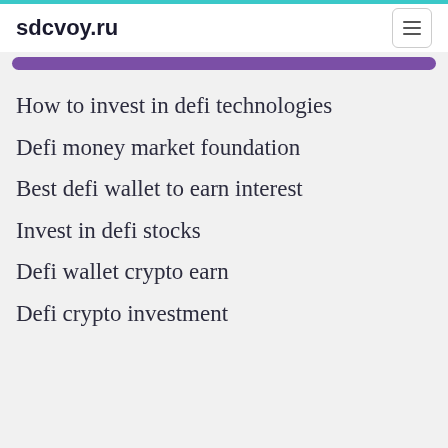sdcvoy.ru
How to invest in defi technologies
Defi money market foundation
Best defi wallet to earn interest
Invest in defi stocks
Defi wallet crypto earn
Defi crypto investment